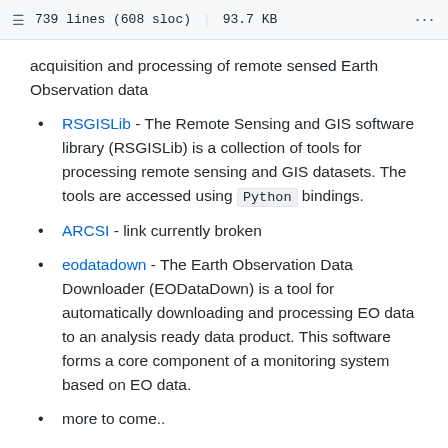739 lines (608 sloc) | 93.7 KB
acquisition and processing of remote sensed Earth Observation data
RSGISLib - The Remote Sensing and GIS software library (RSGISLib) is a collection of tools for processing remote sensing and GIS datasets. The tools are accessed using Python bindings.
ARCSI - link currently broken
eodatadown - The Earth Observation Data Downloader (EODataDown) is a tool for automatically downloading and processing EO data to an analysis ready data product. This software forms a core component of a monitoring system based on EO data.
more to come..